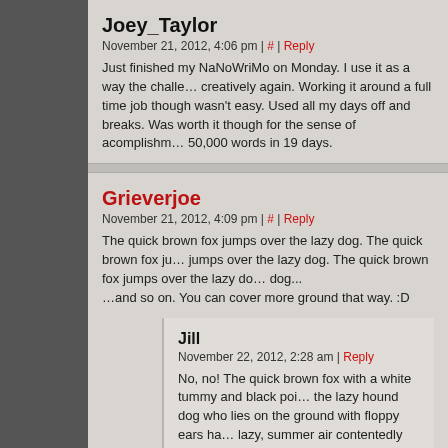Joey_Taylor
November 21, 2012, 4:06 pm | # | Reply
Just finished my NaNoWriMo on Monday. I use it as a way the challenge myself to think creatively again. Working it around a full time job though wasn't easy. Used all my days off and breaks. Was worth it though for the sense of acomplishment. Wrote 50,000 words in 19 days.
Grieverjoe
November 21, 2012, 4:09 pm | # | Reply
The quick brown fox jumps over the lazy dog. The quick brown fox jumps over the lazy dog. The quick brown fox jumps over the lazy dog. The quick brown fox jumps over the lazy dog...
...and so on. You can cover more ground that way. :D
Jill
November 22, 2012, 2:28 am | Reply
No, no! The quick brown fox with a white tummy and black points leaps over the lazy hound dog who lies on the ground with floppy ears hanging in the lazy, summer air contentedly and caring naught of the box!

It's all in the fat.
Herecius